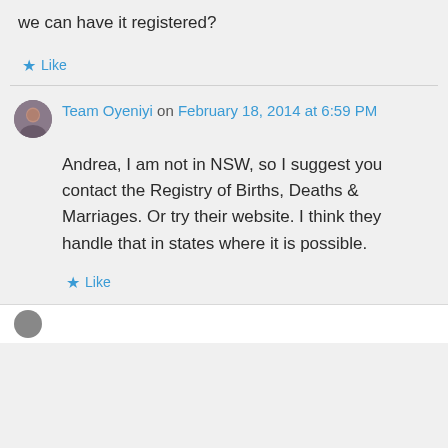we can have it registered?
Like
Team Oyeniyi on February 18, 2014 at 6:59 PM
Andrea, I am not in NSW, so I suggest you contact the Registry of Births, Deaths & Marriages. Or try their website. I think they handle that in states where it is possible.
Like